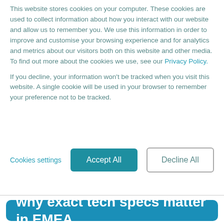This website stores cookies on your computer. These cookies are used to collect information about how you interact with our website and allow us to remember you. We use this information in order to improve and customise your browsing experience and for analytics and metrics about our visitors both on this website and other media. To find out more about the cookies we use, see our Privacy Policy.

If you decline, your information won't be tracked when you visit this website. A single cookie will be used in your browser to remember your preference not to be tracked.
Cookies settings | Accept All | Decline All
why exact tech specs matter in EMEA